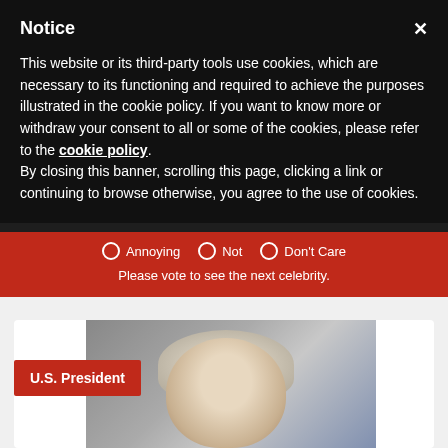Notice
This website or its third-party tools use cookies, which are necessary to its functioning and required to achieve the purposes illustrated in the cookie policy. If you want to know more or withdraw your consent to all or some of the cookies, please refer to the cookie policy.
By closing this banner, scrolling this page, clicking a link or continuing to browse otherwise, you agree to the use of cookies.
Annoying   Not   Don't Care
Please vote to see the next celebrity.
[Figure (photo): Partially visible photo of a person with light/grey hair, with a red U.S. President badge overlay in the bottom-left area of the image.]